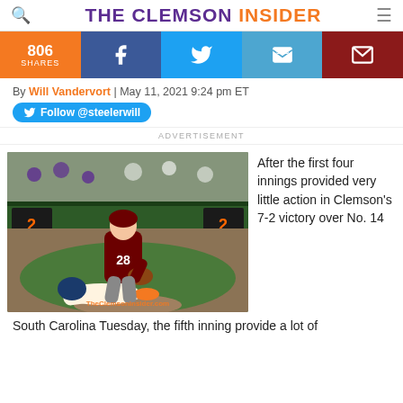THE CLEMSON INSIDER
806 SHARES
By Will Vandervort | May 11, 2021 9:24 pm ET
Follow @steelerwill
ADVERTISEMENT
[Figure (photo): Baseball player wearing #28 for South Carolina fielding at first base while a Clemson player slides in, with scoreboard visible in background]
After the first four innings provided very little action in Clemson's 7-2 victory over No. 14 South Carolina Tuesday, the fifth inning provide a lot of